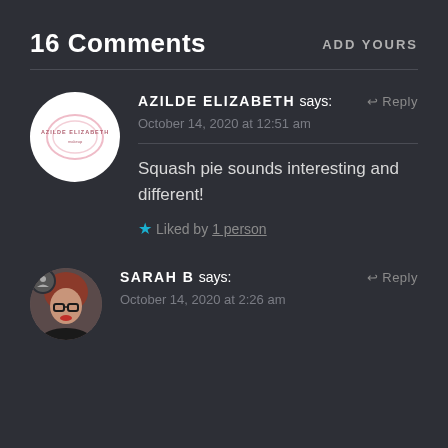16 Comments
ADD YOURS
AZILDE ELIZABETH says:
October 14, 2020 at 12:51 am
Squash pie sounds interesting and different!
Liked by 1 person
SARAH B says:
October 14, 2020 at 2:26 am